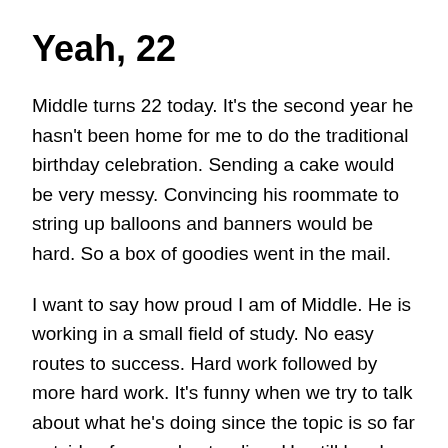Yeah, 22
Middle turns 22 today. It's the second year he hasn't been home for me to do the traditional birthday celebration. Sending a cake would be very messy. Convincing his roommate to string up balloons and banners would be hard. So a box of goodies went in the mail.
I want to say how proud I am of Middle. He is working in a small field of study. No easy routes to success. Hard work followed by more hard work. It's funny when we try to talk about what he's doing since the topic is so far outside of my understanding. He still laughs at my attempts to understand. A good thing, I guess.
Today I hope he looks back and sees how far he's come. I hope he hears all of us cheering him on. It's not been an